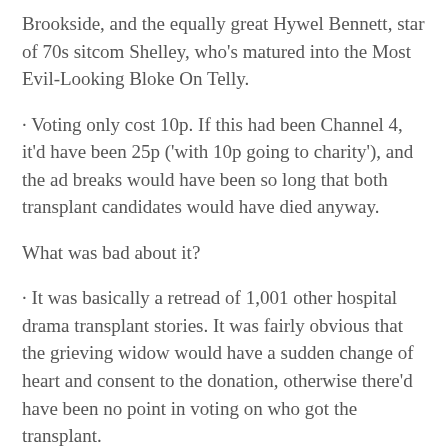Brookside, and the equally great Hywel Bennett, star of 70s sitcom Shelley, who's matured into the Most Evil-Looking Bloke On Telly.
· Voting only cost 10p. If this had been Channel 4, it'd have been 25p ('with 10p going to charity'), and the ad breaks would have been so long that both transplant candidates would have died anyway.
What was bad about it?
· It was basically a retread of 1,001 other hospital drama transplant stories. It was fairly obvious that the grieving widow would have a sudden change of heart and consent to the donation, otherwise there'd have been no point in voting on who got the transplant.
· It didn't actually convince us that medics don't